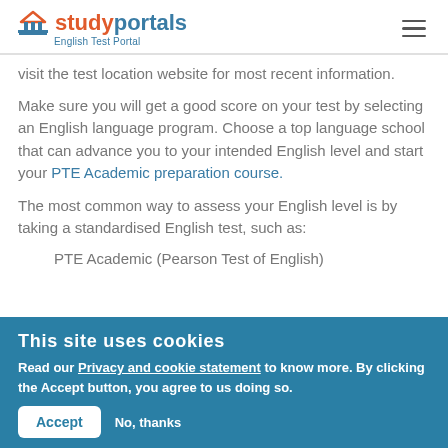studyportals English Test Portal
visit the test location website for most recent information.
Make sure you will get a good score on your test by selecting an English language program. Choose a top language school that can advance you to your intended English level and start your PTE Academic preparation course.
The most common way to assess your English level is by taking a standardised English test, such as:
PTE Academic (Pearson Test of English)
This site uses cookies
Read our Privacy and cookie statement to know more. By clicking the Accept button, you agree to us doing so.